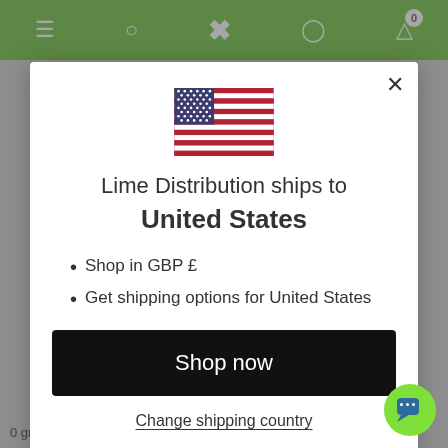[Figure (screenshot): Green navigation bar with hamburger menu, search, logo X, profile, and cart (0) icons]
[Figure (illustration): US flag SVG]
Lime Distribution ships to
United States
Shop in GBP £
Get shipping options for United States
Shop now
Change shipping country
0 grams of total fat and sugar free